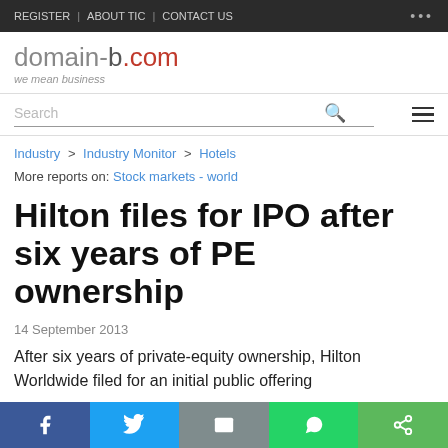REGISTER | ABOUT TIC | CONTACT US
domain-b.com — we mean business
Industry > Industry Monitor > Hotels
More reports on: Stock markets - world
Hilton files for IPO after six years of PE ownership
14 September 2013
After six years of private-equity ownership, Hilton Worldwide filed for an initial public offering